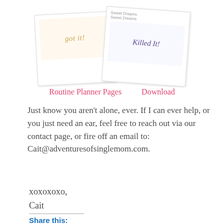[Figure (photo): Two overlapping polaroid-style photos. Left polaroid shows handwritten gold/yellow text cursive. Right polaroid shows handwritten purple text 'Killed It!' with a small stamp at top reading 'Sweet Dreams'.]
Routine Planner Pages     Download
Just know you aren't alone, ever. If I can ever help, or you just need an ear, feel free to reach out via our contact page, or fire off an email to: Cait@adventuresofsinglemom.com.
xoxoxoxo,
Cait
Share this:
Twitter
Facebook
Pinterest 4
Email